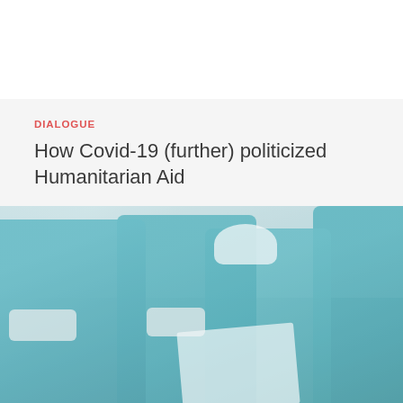DIALOGUE
How Covid-19 (further) politicized Humanitarian Aid
[Figure (photo): Group of humanitarian aid workers wearing blue t-shirts and white face masks, holding papers and looking at documents outdoors near a vehicle.]